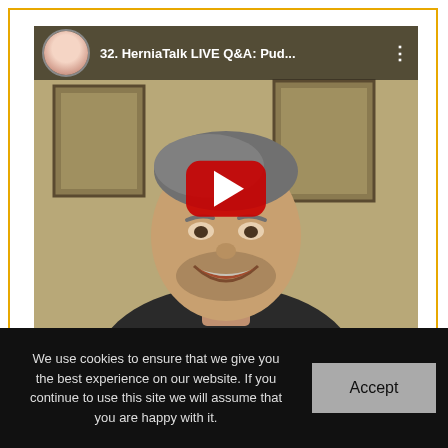[Figure (screenshot): YouTube video thumbnail for '32. HerniaTalk LIVE Q&A: Pud...' showing a smiling middle-aged man with a circular avatar of a woman in white coat in the top-left corner, and a red YouTube play button overlay in the center.]
[Figure (screenshot): YouTube video list item on dark background for '32. HerniaTalk LIVE Q&A: Pud...' with circular avatar of a woman in white coat on the left and three-dot menu icon on the right.]
We use cookies to ensure that we give you the best experience on our website. If you continue to use this site we will assume that you are happy with it.